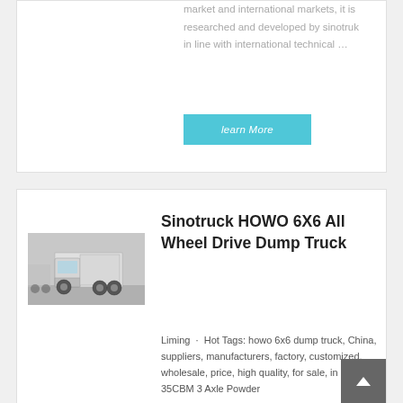market and international markets, it is researched and developed by sinotruk in line with international technical …
learn More
[Figure (photo): Sinotruck HOWO 6X6 truck photographed from the front in a parking area]
Sinotruck HOWO 6X6 All Wheel Drive Dump Truck
Liming · Hot Tags: howo 6x6 dump truck, China, suppliers, manufacturers, factory, customized, wholesale, price, high quality, for sale, in stock, 35CBM 3 Axle Powder